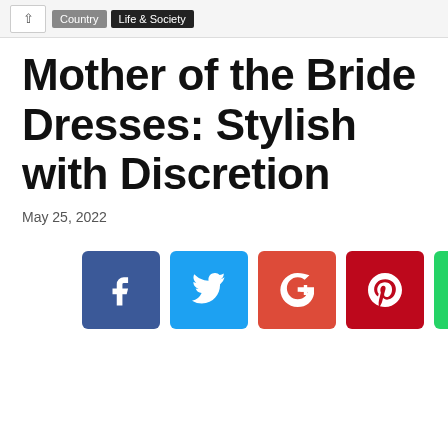Country / Life & Society
Mother of the Bride Dresses: Stylish with Discretion
May 25, 2022
[Figure (infographic): Social media share buttons: Facebook (blue), Twitter (light blue), Google+ (red-orange), Pinterest (dark red), WhatsApp (green)]